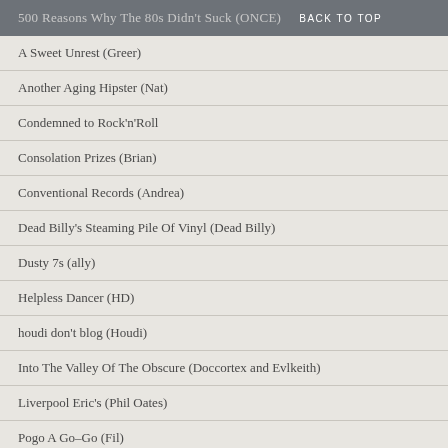500 Reasons Why The 80s Didn't Suck (ONCE) BACK TO TOP
A Sweet Unrest (Greer)
Another Aging Hipster (Nat)
Condemned to Rock'n'Roll
Consolation Prizes (Brian)
Conventional Records (Andrea)
Dead Billy's Steaming Pile Of Vinyl (Dead Billy)
Dusty 7s (ally)
Helpless Dancer (HD)
houdi don't blog (Houdi)
Into The Valley Of The Obscure (Doccortex and Evlkeith)
Liverpool Eric's (Phil Oates)
Pogo A Go-Go (Fil)